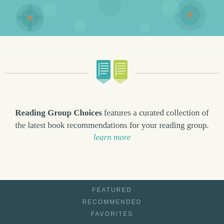[Figure (illustration): Teal/green decorative floral pattern banner at the top of the page]
[Figure (logo): Two open book icons side by side — left book in teal/cyan, right book in yellow-green, representing Reading Group Choices logo]
Reading Group Choices features a curated collection of the latest book recommendations for your reading group. learn more
FEATURED
RECOMMENDED
FAVORITES